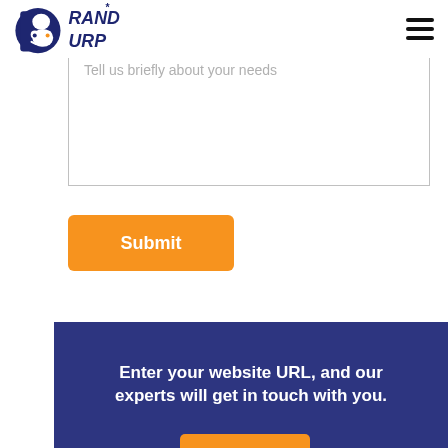[Figure (logo): BrandBurp logo — stylized letter B with cartoon face and 'RAND* URP' text in dark navy blue, with an orange element]
Tell us briefly about your needs
Submit
Enter your website URL, and our experts will get in touch with you.